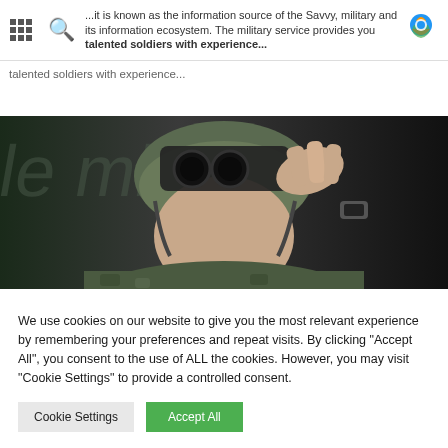...it is known as the information source of the Savvy, military and its information ecosystem. The military service provides you talented soldiers with experience...
talented soldiers with experience...
[Figure (photo): A soldier wearing a military helmet and night-vision binoculars/goggles, adjusting the equipment with one hand. The background is blurred and dark.]
We use cookies on our website to give you the most relevant experience by remembering your preferences and repeat visits. By clicking "Accept All", you consent to the use of ALL the cookies. However, you may visit "Cookie Settings" to provide a controlled consent.